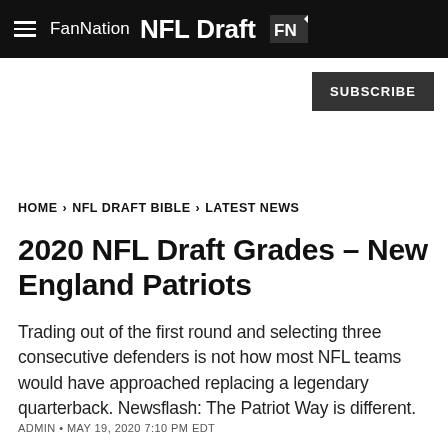FanNation NFL Draft
SUBSCRIBE
HOME > NFL DRAFT BIBLE > LATEST NEWS
2020 NFL Draft Grades - New England Patriots
Trading out of the first round and selecting three consecutive defenders is not how most NFL teams would have approached replacing a legendary quarterback. Newsflash: The Patriot Way is different.
ADMIN • MAY 19, 2020 7:10 PM EDT